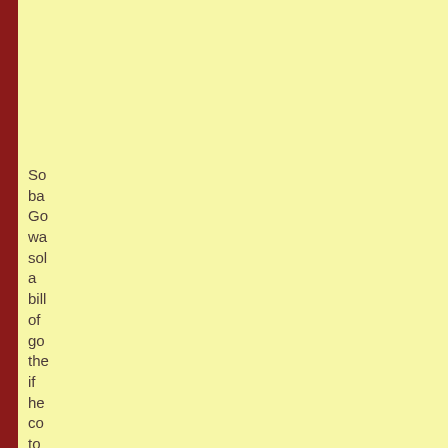So ba Go wa sol a bill of go the if he co to the re of Ge an